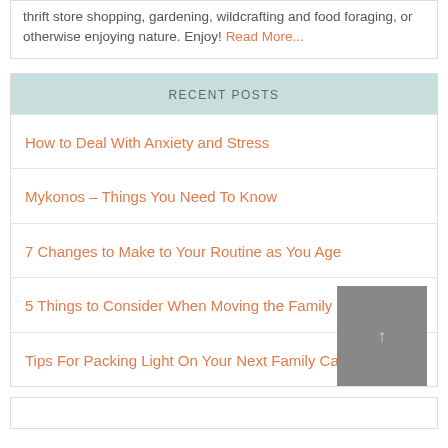thrift store shopping, gardening, wildcrafting and food foraging, or otherwise enjoying nature. Enjoy! Read More...
RECENT POSTS
How to Deal With Anxiety and Stress
Mykonos – Things You Need To Know
7 Changes to Make to Your Routine as You Age
5 Things to Consider When Moving the Family Overseas
Tips For Packing Light On Your Next Family Camping Trip